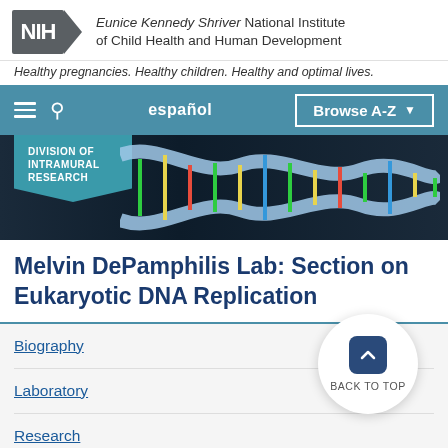[Figure (logo): NIH logo with Eunice Kennedy Shriver National Institute of Child Health and Human Development text]
Healthy pregnancies. Healthy children. Healthy and optimal lives.
[Figure (screenshot): Navigation bar with hamburger menu, search icon, español link, and Browse A-Z button on teal background]
[Figure (photo): DNA double helix banner image with Division of Intramural Research badge overlay]
Melvin DePamphilis Lab: Section on Eukaryotic DNA Replication
Biography
Laboratory
Research
Publications